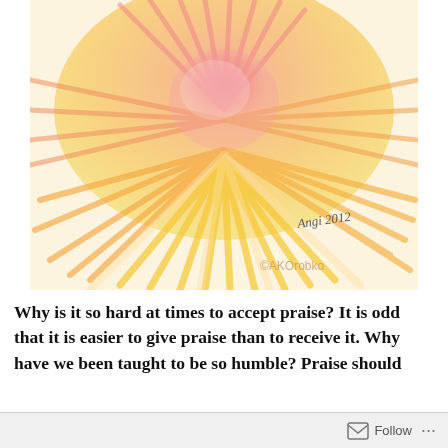[Figure (illustration): Watercolor-style painting of a large flower (chrysanthemum or sunburst) with radiating petals in shades of pink, coral, orange, and yellow. Signed 'Angi 2012' in the lower right area, with '©AKOrobko' watermark at the bottom right.]
Why is it so hard at times to accept praise? It is odd that it is easier to give praise than to receive it. Why have we been taught to be so humble? Praise should
Follow